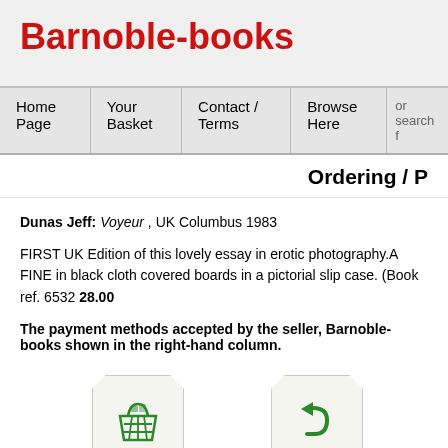Barnoble-books
Home Page | Your Basket | Contact / Terms | Browse Here | or search f
Ordering / P
Dunas Jeff: Voyeur , UK Columbus 1983
FIRST UK Edition of this lovely essay in erotic photography.A FINE in black cloth covered boards in a pictorial slip case. (Book ref. 6532 28.00
The payment methods accepted by the seller, Barnoble-books shown in the right-hand column.
[Figure (other): Green shopping basket icon button with label 'Click here to order']
[Figure (other): Green back arrow icon button with label 'Back to search']